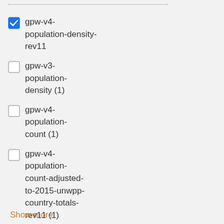gpw-v4-population-density-rev11 (checked)
gpw-v3-population-density (1)
gpw-v4-population-count (1)
gpw-v4-population-count-adjusted-to-2015-unwpp-country-totals-rev11 (1)
gpw-v4-population-count-rev11 (1)
Show more